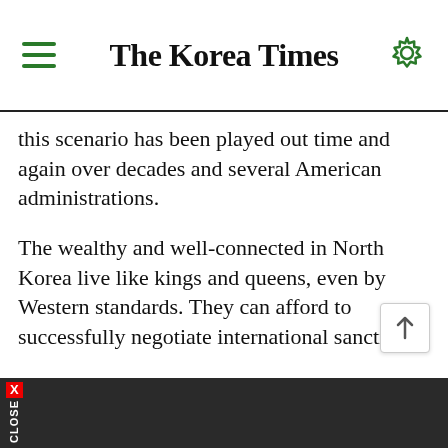The Korea Times
this scenario has been played out time and again over decades and several American administrations.
The wealthy and well-connected in North Korea live like kings and queens, even by Western standards. They can afford to successfully negotiate international sanctions.
Worse, bloviating, blustery, corpulent Trump makes the mistake of believing his own dishonest self-aggrandizing. He knows "more than the generals," because he watches Sunday morning political talk shows.